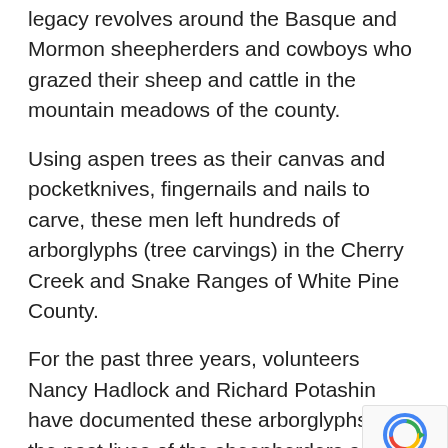legacy revolves around the Basque and Mormon sheepherders and cowboys who grazed their sheep and cattle in the mountain meadows of the county.
Using aspen trees as their canvas and pocketknives, fingernails and nails to carve, these men left hundreds of arborglyphs (tree carvings) in the Cherry Creek and Snake Ranges of White Pine County.
For the past three years, volunteers Nancy Hadlock and Richard Potashin have documented these arborglyphs and the past lives of the sheepherders and cowboys for the Bureau of Land Management (BLM) under a grant from the Great Basin Heritage Area.
Beginning April 19 and running through June 2 at the